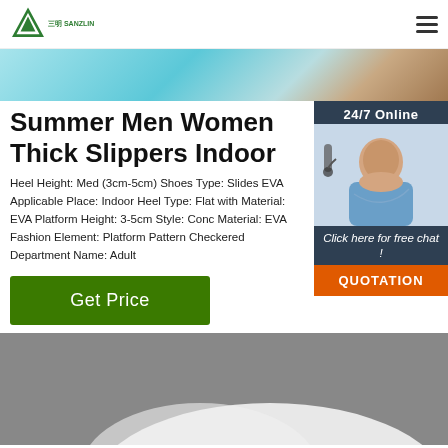三明 SANZLIN logo with hamburger menu
[Figure (photo): Banner image with teal/blue and brown gradient colors]
Summer Men Women Thick Slippers Indoor
Heel Height: Med (3cm-5cm) Shoes Type: Slides EVA Applicable Place: Indoor Heel Type: Flat with Material: EVA Platform Height: 3-5cm Style: Conc Material: EVA Fashion Element: Platform Pattern Checkered Department Name: Adult
[Figure (photo): 24/7 Online chat box with photo of woman with headset, click here for free chat text, and QUOTATION button]
[Figure (photo): Bottom product photo showing slippers on gray background with scroll-to-top button]